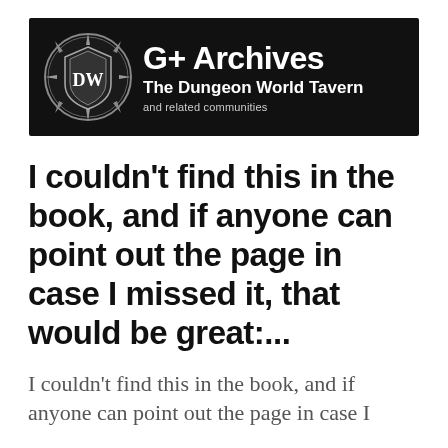[Figure (logo): G+ Archives banner for The Dungeon World Tavern and related communities. Black background with circular emblem/shield logo on left and white text on right.]
I couldn't find this in the book, and if anyone can point out the page in case I missed it, that would be great:...
I couldn't find this in the book, and if anyone can point out the page in case I